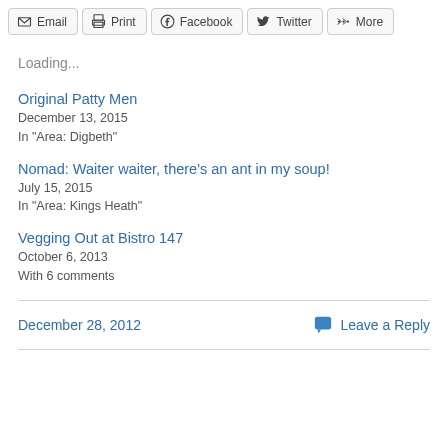Email | Print | Facebook | Twitter | More
Loading...
Original Patty Men
December 13, 2015
In "Area: Digbeth"
Nomad: Waiter waiter, there's an ant in my soup!
July 15, 2015
In "Area: Kings Heath"
Vegging Out at Bistro 147
October 6, 2013
With 6 comments
December 28, 2012   Leave a Reply